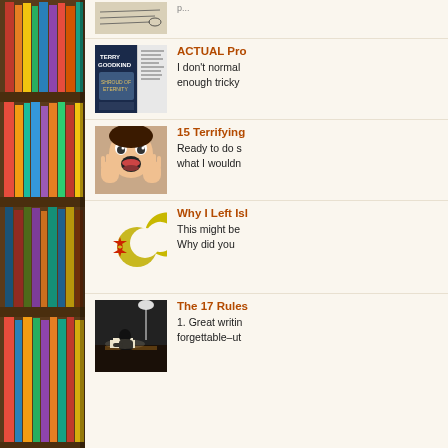[Figure (photo): Left panel: bookshelf with colorful book spines]
[Figure (photo): Thumbnail: handwritten notes or letter (partially visible at top)]
ACTUAL Pro... I don't normal... enough tricky...
[Figure (photo): Thumbnail: Terry Goodkind book 'Shroud of Eternity' cover]
ACTUAL Pro... I don't normally... enough tricky...
[Figure (photo): Thumbnail: Woman with shocked/scared expression, hands on face]
15 Terrifying... Ready to do s... what I wouldn...
[Figure (illustration): Islamic crescent moon and star symbol in yellow-green and red]
Why I Left Isl... This might be... Why did you...
[Figure (photo): Thumbnail: Person sitting at desk writing, black and white photo]
The 17 Rules... 1. Great writin... forgettable–ut...